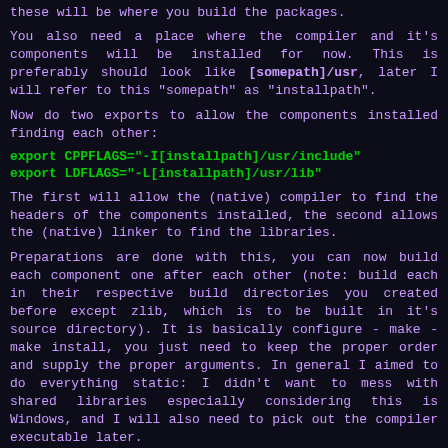these will be where you build the packages.
You also need a place where the compiler and it's components will be installed for now. This is preferably should look like [somepath]/usr, later I will refer to this "somepath" as "installpath".
Now do two exports to allow the components installed finding each other:
export CPPFLAGS="-I[installpath]/usr/include"
export LDFLAGS="-L[installpath]/usr/lib"
The first will allow the (native) compiler to find the headers of the components installed, the second allows the (native) linker to find the libraries.
Preparations are done with this, you can now build each component one after each other (note: build each in their respective build directories you created before except zlib, which is to be built in it's source directory). It is basically configure - make - make install, you just need to keep the proper order and supply the proper arguments. In general I aimed to do everything static: I didn't want to mess with shared libraries especially considering this is Windows, and I will also need to pick out the compiler executable later.
gmp:
./gmp/configure  --prefix=[installpath]/usr  --disabl